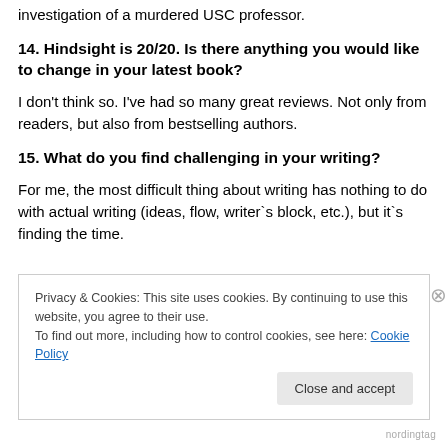investigation of a murdered USC professor.
14. Hindsight is 20/20. Is there anything you would like to change in your latest book?
I don't think so. I've had so many great reviews. Not only from readers, but also from bestselling authors.
15. What do you find challenging in your writing?
For me, the most difficult thing about writing has nothing to do with actual writing (ideas, flow, writer`s block, etc.), but it`s finding the time.
Privacy & Cookies: This site uses cookies. By continuing to use this website, you agree to their use.
To find out more, including how to control cookies, see here: Cookie Policy
nordingtag